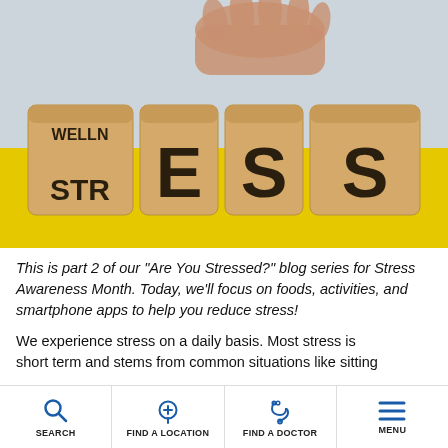[Figure (photo): Wooden letter blocks spelling STRESS on a yellow surface, with a hand placing/flipping a block that also shows WELLN (wellness) above STR, illustrating the concept of stress vs wellness.]
This is part 2 of our "Are You Stressed?" blog series for Stress Awareness Month. Today, we'll focus on foods, activities, and smartphone apps to help you reduce stress!
We experience stress on a daily basis. Most stress is short term and stems from common situations like sitting
SEARCH | FIND A LOCATION | FIND A DOCTOR | MENU